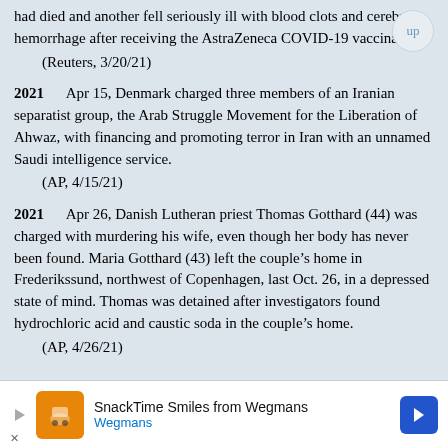had died and another fell seriously ill with blood clots and cerebral hemorrhage after receiving the AstraZeneca COVID-19 vaccination.
    (Reuters, 3/20/21)
2021    Apr 15, Denmark charged three members of an Iranian separatist group, the Arab Struggle Movement for the Liberation of Ahwaz, with financing and promoting terror in Iran with an unnamed Saudi intelligence service.
    (AP, 4/15/21)
2021    Apr 26, Danish Lutheran priest Thomas Gotthard (44) was charged with murdering his wife, even though her body has never been found. Maria Gotthard (43) left the couple’s home in Frederikssund, northwest of Copenhagen, last Oct. 26, in a depressed state of mind. Thomas was detained after investigators found hydrochloric acid and caustic soda in the couple’s home.
    (AP, 4/26/21)
[Figure (other): Advertisement banner for Wegmans SnackTime Smiles. Shows Wegmans logo, text 'SnackTime Smiles from Wegmans', and a blue navigation arrow icon.]